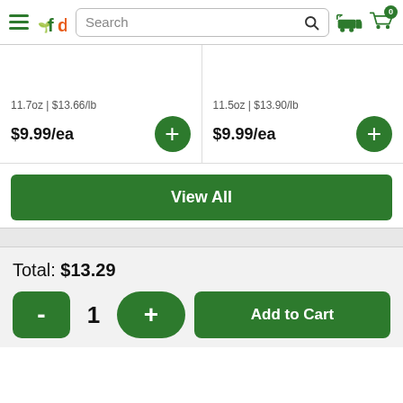fd Search [search icon] [truck icon] [cart icon] 0
11.7oz | $13.66/lb
$9.99/ea
11.5oz | $13.90/lb
$9.99/ea
View All
Total: $13.29
- 1 + Add to Cart